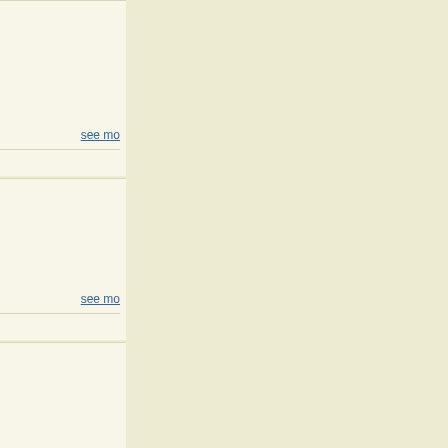[Figure (photo): Avatar photo of tonyw user - outdoor portrait near water]
tonyw
thread
General
mayan w Flickr
see more
5154 replies | 1882211 vi
[Figure (photo): Avatar photo of tonyw user - outdoor portrait near water, second instance]
tonyw
thread
General
a maya
see more
5154 replies | 1882211 vi
[Figure (photo): Avatar photo of MANIC user - two people, one in yellow shirt]
MANIC
replied
Chat
Was the that, (al earlier a
see more